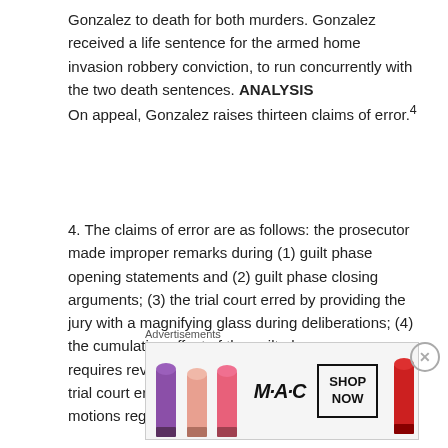Gonzalez to death for both murders. Gonzalez received a life sentence for the armed home invasion robbery conviction, to run concurrently with the two death sentences. ANALYSIS On appeal, Gonzalez raises thirteen claims of error.4
4. The claims of error are as follows: the prosecutor made improper remarks during (1) guilt phase opening statements and (2) guilt phase closing arguments; (3) the trial court erred by providing the jury with a magnifying glass during deliberations; (4) the cumulative effect of the guilt phase errors requires reversal of Gonzalez’s convictions; (5) the trial court erred in denying Gonzalez’s pretrial motions regarding aggravating circumstances; (6) the trial court erred
Advertisements
[Figure (illustration): MAC cosmetics advertisement showing lipsticks in purple, peach, and pink colors on the left, MAC logo in the center, and a 'SHOP NOW' button on the right.]